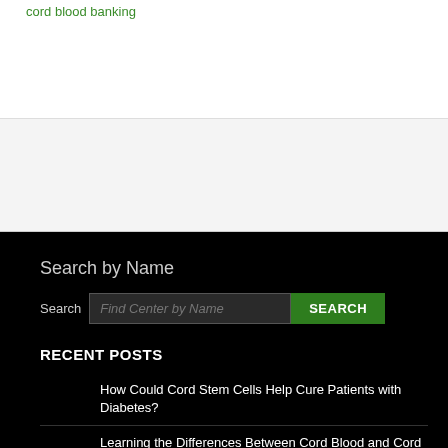[Figure (other): Advertisement or banner section with light gray background]
Search by Name
Search Find Center by Name SEARCH
RECENT POSTS
How Could Cord Stem Cells Help Cure Patients with Diabetes?
Learning the Differences Between Cord Blood and Cord Tissue